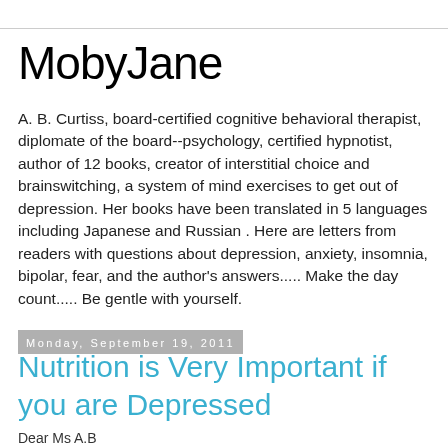MobyJane
A. B. Curtiss, board-certified cognitive behavioral therapist, diplomate of the board--psychology, certified hypnotist, author of 12 books, creator of interstitial choice and brainswitching, a system of mind exercises to get out of depression. Her books have been translated in 5 languages including Japanese and Russian . Here are letters from readers with questions about depression, anxiety, insomnia, bipolar, fear, and the author's answers..... Make the day count..... Be gentle with yourself.
Monday, September 19, 2011
Nutrition is Very Important if you are Depressed
Dear Ms A.B